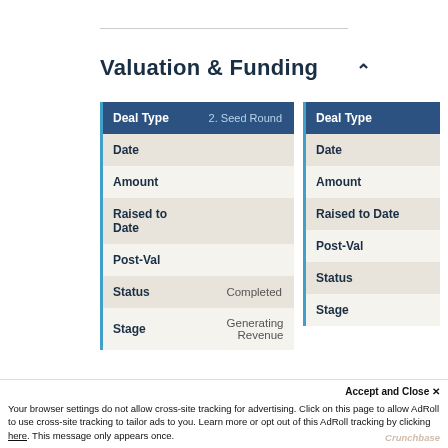Valuation & Funding
| Deal Type | 2. Seed Round |
| --- | --- |
| Date |  |
| Amount |  |
| Raised to Date |  |
| Post-Val |  |
| Status | Completed |
| Stage | Generating Revenue |
| Deal Type |  |
| --- | --- |
| Date |  |
| Amount |  |
| Raised to Date |  |
| Post-Val |  |
| Status |  |
| Stage |  |
To view Weaver Cafe's complete valuation and funding, subscribe today.
Accept and Close ✕ Your browser settings do not allow cross-site tracking for advertising. Click on this page to allow AdRoll to use cross-site tracking to tailor ads to you. Learn more or opt out of this AdRoll tracking by clicking here. This message only appears once.